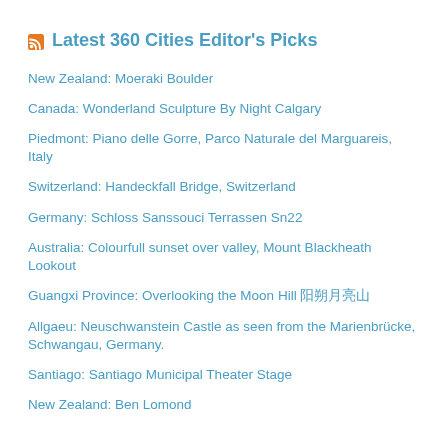Latest 360 Cities Editor's Picks
New Zealand: Moeraki Boulder
Canada: Wonderland Sculpture By Night Calgary
Piedmont: Piano delle Gorre, Parco Naturale del Marguareis, Italy
Switzerland: Handeckfall Bridge, Switzerland
Germany: Schloss Sanssouci Terrassen Sn22
Australia: Colourfull sunset over valley, Mount Blackheath Lookout
Guangxi Province: Overlooking the Moon Hill 阳朔月亮山
Allgaeu: Neuschwanstein Castle as seen from the Marienbrücke, Schwangau, Germany.
Santiago: Santiago Municipal Theater Stage
New Zealand: Ben Lomond